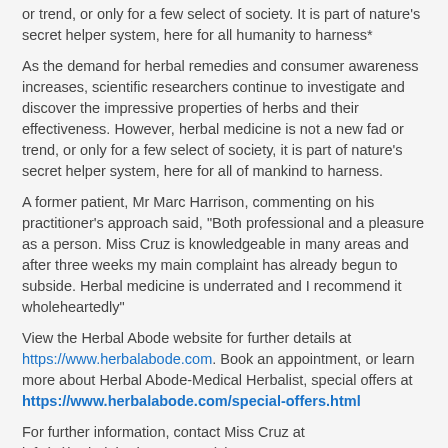or trend, or only for a few select of society. It is part of nature's secret helper system, here for all humanity to harness*
As the demand for herbal remedies and consumer awareness increases, scientific researchers continue to investigate and discover the impressive properties of herbs and their effectiveness. However, herbal medicine is not a new fad or trend, or only for a few select of society, it is part of nature's secret helper system, here for all of mankind to harness.
A former patient, Mr Marc Harrison, commenting on his practitioner's approach said, "Both professional and a pleasure as a person. Miss Cruz is knowledgeable in many areas and after three weeks my main complaint has already begun to subside. Herbal medicine is underrated and I recommend it wholeheartedly"
View the Herbal Abode website for further details at https://www.herbalabode.com. Book an appointment, or learn more about Herbal Abode-Medical Herbalist, special offers at https://www.herbalabode.com/special-offers.html
For further information, contact Miss Cruz at info(at)herbalabode.com +44 (0)7716 906134
*ENDS*
Notes to Editors